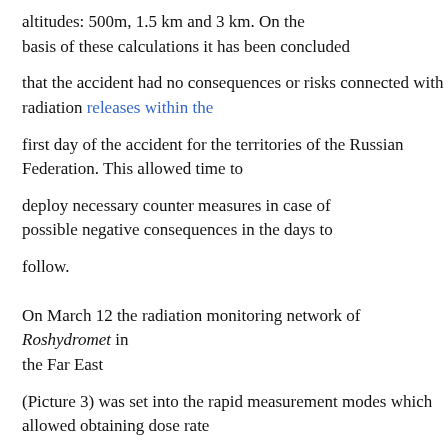altitudes: 500m, 1.5 km and 3 km. On the basis of these calculations it has been concluded
that the accident had no consequences or risks connected with radiation releases within the
first day of the accident for the territories of the Russian Federation. This allowed time to
deploy necessary counter measures in case of possible negative consequences in the days to
follow.
On March 12 the radiation monitoring network of Roshydromet in the Far East
(Picture 3) was set into the rapid measurement modes which allowed obtaining dose rate
measurement within an interval of 1 hour and perform daily measurements of air samples for
the detection of artificial radionuclides originating from the nuclear power plant. All th...